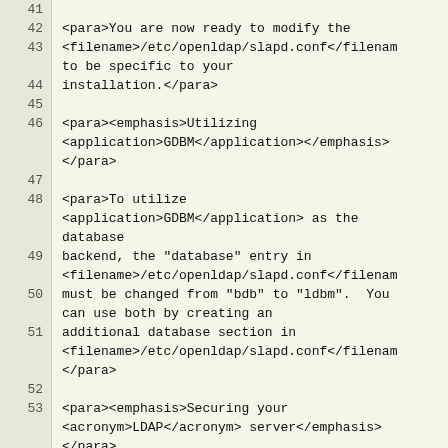Line 41 (empty)
42: <para>You are now ready to modify the
43: <filename>/etc/openldap/slapd.conf</filename
to be specific to your
44:    installation.</para>
45 (empty)
46: <para><emphasis>Utilizing <application>GDBM</application></emphasis></para>
47 (empty)
48: <para>To utilize <application>GDBM</application> as the database
49:    backend, the "database" entry in <filename>/etc/openldap/slapd.conf</filename
50:    must be changed from "bdb" to "ldbm".  You can use both by creating an
51:    additional database section in <filename>/etc/openldap/slapd.conf</filename></para>
52 (empty)
53: <para><emphasis>Securing your <acronym>LDAP</acronym> server</emphasis></para>
54 (empty)